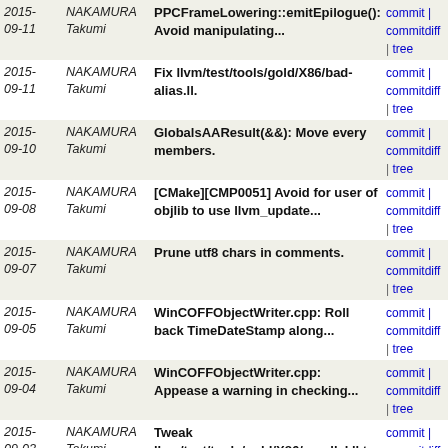| Date | Author | Message | Links |
| --- | --- | --- | --- |
| 2015-09-11 | NAKAMURA Takumi | PPCFrameLowering::emitEpilogue(): Avoid manipulating... | commit | commitdiff | tree |
| 2015-09-11 | NAKAMURA Takumi | Fix llvm/test/tools/gold/X86/bad-alias.ll. | commit | commitdiff | tree |
| 2015-09-10 | NAKAMURA Takumi | GlobalsAAResult(&&): Move every members. | commit | commitdiff | tree |
| 2015-09-08 | NAKAMURA Takumi | [CMake][CMP0051] Avoid for user of objlib to use llvm_update... | commit | commitdiff | tree |
| 2015-09-07 | NAKAMURA Takumi | Prune utf8 chars in comments. | commit | commitdiff | tree |
| 2015-09-05 | NAKAMURA Takumi | WinCOFFObjectWriter.cpp: Roll back TimeDateStamp along... | commit | commitdiff | tree |
| 2015-09-04 | NAKAMURA Takumi | WinCOFFObjectWriter.cpp: Appease a warning in checking... | commit | commitdiff | tree |
| 2015-09-03 | NAKAMURA Takumi | Tweak llvm/test/tools/gold/X86/parallel.ll to run with... | commit | commitdiff | tree |
| 2015-09-02 | NAKAMURA Takumi | MCAssembler.h: Prune unused \param since r246604. ... | commit | commitdiff | tree |
| 2015-09-02 | NAKAMURA Takumi | Suppress llvm/test/tools/gold/X86/parallel.ll while... | commit | commitdiff | tree |
| 2015-09-02 | NAKAMURA Takumi | [CMake] Don't use OBJLIB on Xcode. | commit | commitdiff | tree |
| 2015-08-28 | NAKAMURA Takumi | Revert r246350, "The host and default target triples... | commit | commitdiff | tree |
| 2015-08-28 | NAKAMURA Takumi | LLVMCodeGen: Update libdeps corresponding to r246236. | commit | commitdiff | tree |
| 2015- | NAKAMURA | Kaleidoscope: Prune | commit |